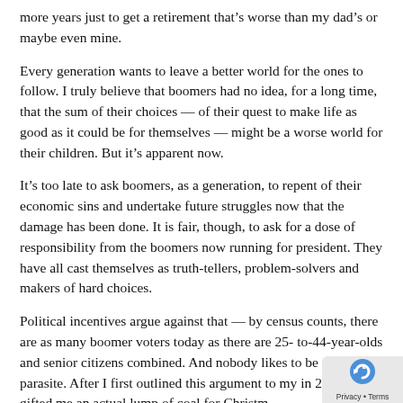more years just to get a retirement that’s worse than my dad’s or maybe even mine.
Every generation wants to leave a better world for the ones to follow. I truly believe that boomers had no idea, for a long time, that the sum of their choices — of their quest to make life as good as it could be for themselves — might be a worse world for their children. But it’s apparent now.
It’s too late to ask boomers, as a generation, to repent of their economic sins and undertake future struggles now that the damage has been done. It is fair, though, to ask for a dose of responsibility from the boomers now running for president. They have all cast themselves as truth-tellers, problem-solvers and makers of hard choices.
Political incentives argue against that — by census counts, there are as many boomer voters today as there are 25- to-44-year-olds and senior citizens combined. And nobody likes to be told he is a parasite. After I first outlined this argument to my in 2012, he gifted me an actual lump of coal for Christm